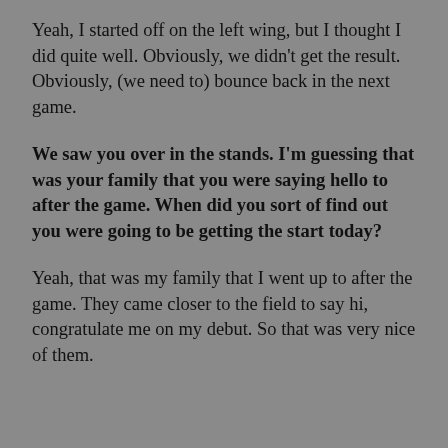Yeah, I started off on the left wing, but I thought I did quite well. Obviously, we didn't get the result. Obviously, (we need to) bounce back in the next game.
We saw you over in the stands. I'm guessing that was your family that you were saying hello to after the game. When did you sort of find out you were going to be getting the start today?
Yeah, that was my family that I went up to after the game. They came closer to the field to say hi, congratulate me on my debut. So that was very nice of them.